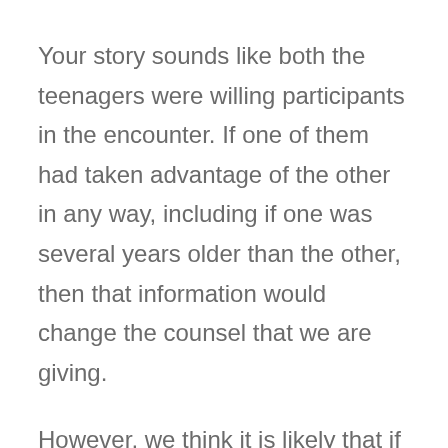Your story sounds like both the teenagers were willing participants in the encounter. If one of them had taken advantage of the other in any way, including if one was several years older than the other, then that information would change the counsel that we are giving.
However, we think it is likely that if the girl had been guilty of any kind of coercion, you would have said so. But in order to protect your son, you might not have mentioned it if it was he who intimidated or put pressure on her. Stereotypically parents assume that it was the boy's fault, whether or not that is true, so it is likely that your former boyfriend